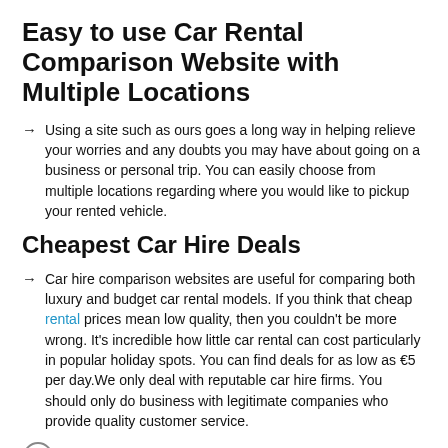Easy to use Car Rental Comparison Website with Multiple Locations
Using a site such as ours goes a long way in helping relieve your worries and any doubts you may have about going on a business or personal trip. You can easily choose from multiple locations regarding where you would like to pickup your rented vehicle.
Cheapest Car Hire Deals
Car hire comparison websites are useful for comparing both luxury and budget car rental models. If you think that cheap rental prices mean low quality, then you couldn't be more wrong. It's incredible how little car rental can cost particularly in popular holiday spots. You can find deals for as low as €5 per day.We only deal with reputable car hire firms. You should only do business with legitimate companies who provide quality customer service.
Popular Rental Cars